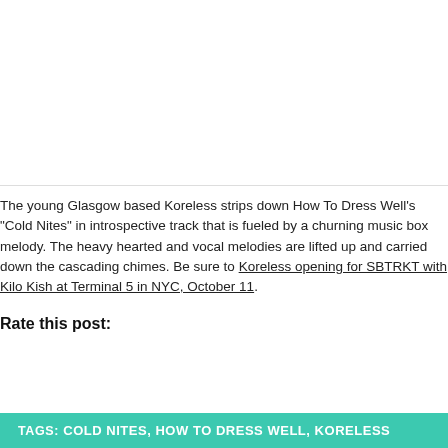[Figure (photo): Image placeholder at top of page, white/light area]
The young Glasgow based Koreless strips down How To Dress Well's "Cold Nites" in introspective track that is fueled by a churning music box melody. The heavy hearted and vocal melodies are lifted up and carried down the cascading chimes. Be sure to Koreless opening for SBTRKT with Kilo Kish at Terminal 5 in NYC, October 11.
Rate this post:
TAGS: COLD NITES, HOW TO DRESS WELL, KORELESS